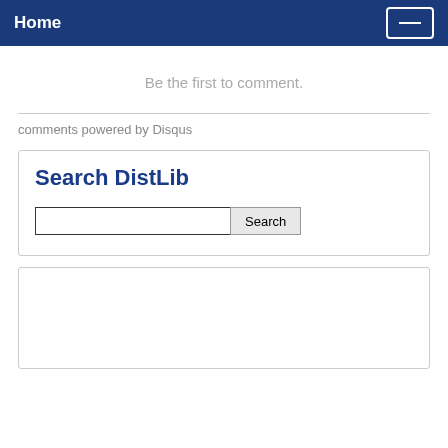Home
Be the first to comment.
comments powered by Disqus
Search DistLib
[Figure (other): Empty box/widget area]